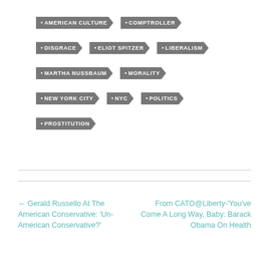AMERICAN CULTURE
COMPTROLLER
DISGRACE
ELIOT SPITZER
LIBERALISM
MARTHA NUSSBAUM
MORALITY
NEW YORK CITY
NYC
POLITICS
PROSTITUTION
← Gerald Russello At The American Conservative: 'Un-American Conservative?'
From CATO@Liberty-'You've Come A Long Way, Baby: Barack Obama On Health